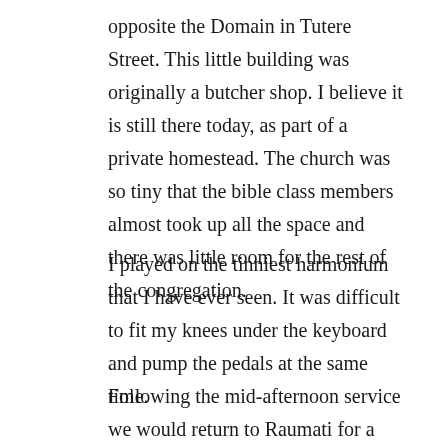opposite the Domain in Tutere Street. This little building was originally a butcher shop. I believe it is still there today, as part of a private homestead. The church was so tiny that the bible class members almost took up all the space and there was little room for the rest of the congregation.
I played on the tinniest harmonium that I have ever seen. It was difficult to fit my knees under the keyboard and pump the pedals at the same time.
Following the mid-afternoon service we would return to Raumati for a sumptuous tea at the home of Mr and Mrs LA Johnson. Unfortunately I